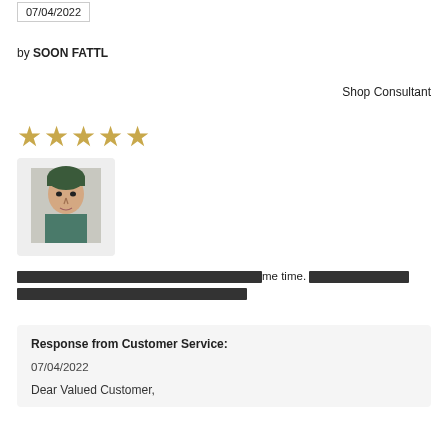07/04/2022
by SOON FATTL
Shop Consultant
★★★★★
[Figure (photo): Profile photo of a person, appears to be a headshot/portrait photo against a light background]
[redacted text]me time. [redacted text][redacted text]
Response from Customer Service:
07/04/2022
Dear Valued Customer,